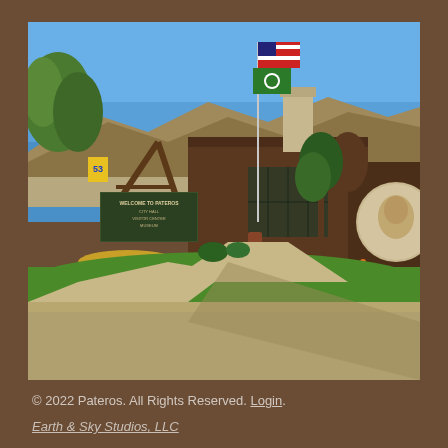[Figure (photo): Outdoor photograph of the Pateros City Hall, Visitor Center, and Museum building. A welcome sign reading 'WELCOME TO PATEROS CITY HALL VISITOR CENTER MUSEUM' is visible on the left with an A-frame wooden structure. American and Washington State flags fly on a flagpole in the center. The building on the right is brick with large windows. Green lawn, flower beds with yellow and red flowers, trees, and a clear blue sky are visible. There is a circular mural/artwork on the far right side of the building.]
© 2022 Pateros. All Rights Reserved. Login.
Earth & Sky Studios, LLC